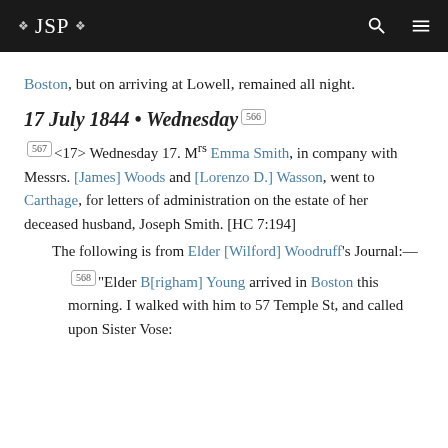❖ JSP ❖
Boston, but on arriving at Lowell, remained all night.
17 July 1844 • Wednesday [566]
[567] <17> Wednesday 17. Mrs Emma Smith, in company with Messrs. [James] Woods and [Lorenzo D.] Wasson, went to Carthage, for letters of administration on the estate of her deceased husband, Joseph Smith. [HC 7:194]
The following is from Elder [Wilford] Woodruff's Journal:—
[568]"Elder B[righam] Young arrived in Boston this morning. I walked with him to 57 Temple St, and called upon Sister Vose: